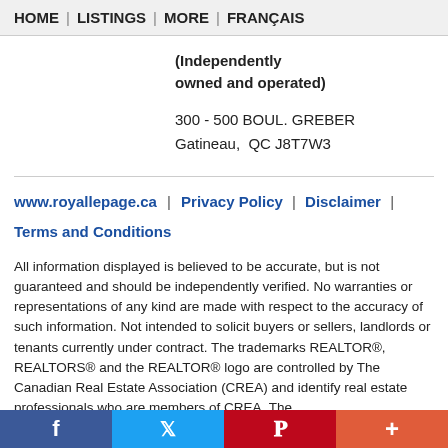HOME | LISTINGS | MORE | FRANÇAIS
(Independently owned and operated)
300 - 500 BOUL. GREBER
Gatineau,  QC J8T7W3
www.royallepage.ca  |  Privacy Policy  |  Disclaimer  |  Terms and Conditions
All information displayed is believed to be accurate, but is not guaranteed and should be independently verified. No warranties or representations of any kind are made with respect to the accuracy of such information. Not intended to solicit buyers or sellers, landlords or tenants currently under contract. The trademarks REALTOR®, REALTORS® and the REALTOR® logo are controlled by The Canadian Real Estate Association (CREA) and identify real estate professionals who are members of CREA. The
f  |  Twitter  |  Pinterest  |  +